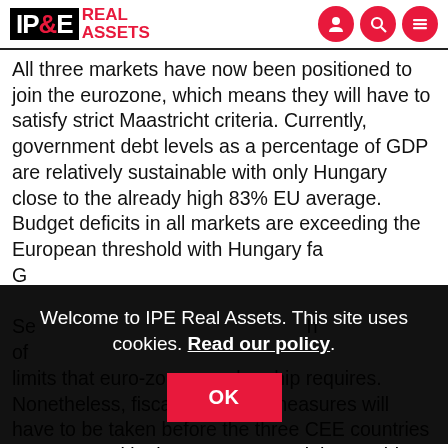IPE Real Assets
All three markets have now been positioned to join the eurozone, which means they will have to satisfy strict Maastricht criteria. Currently, government debt levels as a percentage of GDP are relatively sustainable with only Hungary close to the already high 83% EU average. Budget deficits in all markets are exceeding the European threshold with Hungary fa... G...
Se... h of... limits that euro-zone membership requires. Nonetheless, fiscal tightening measures will have to be taken before the three CEE countries are accepted in the euro-zone and that could hamper
Welcome to IPE Real Assets. This site uses cookies. Read our policy.